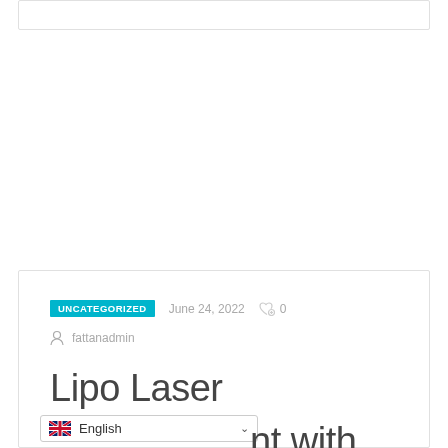[Figure (other): Top card border element, partially visible]
UNCATEGORIZED   June 24, 2022   ♡ 0
fattanadmin
Lipo Laser Treatment with
English (language selector dropdown)